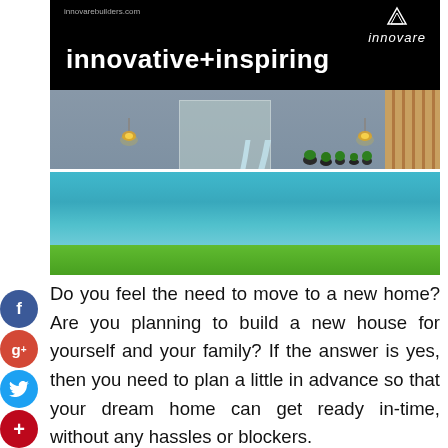[Figure (photo): Innovare Builders promotional banner with black header showing 'innovative+inspiring' text and logo, above a photo of a modern outdoor swimming pool with water features, wall-mounted lights, glass panel, wooden fence, trees, and grass.]
Do you feel the need to move to a new home? Are you planning to build a new house for yourself and your family? If the answer is yes, then you need to plan a little in advance so that your dream home can get ready in-time, without any hassles or blockers.